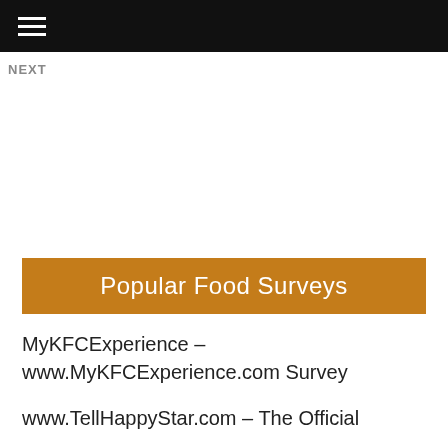≡
NEXT
Popular Food Surveys
MyKFCExperience – www.MyKFCExperience.com Survey
www.TellHappyStar.com – The Official